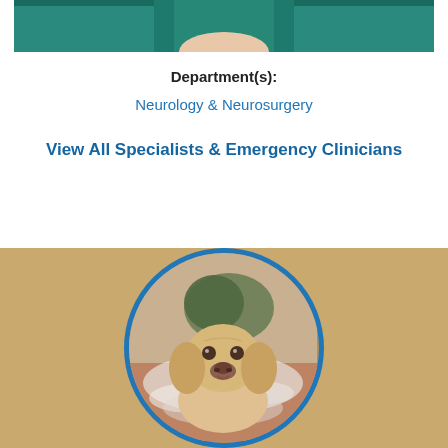[Figure (photo): Partial photo of a person in teal/green medical scrubs, cropped at the top]
Department(s):
Neurology & Neurosurgery
View All Specialists & Emergency Clinicians
[Figure (photo): A yellow Labrador dog sitting amid stuffing/cotton debris on a tiled floor, looking up at the camera, displayed in a circular frame with blue border on a tan/gold background]